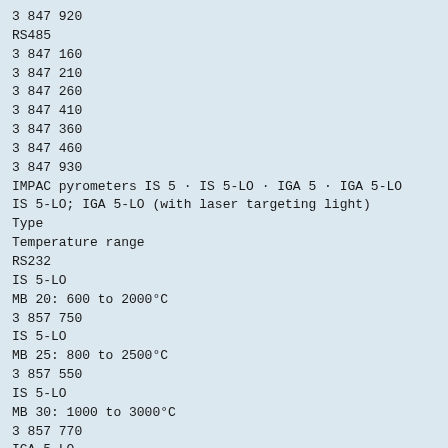3 847 920
RS485
3 847 160
3 847 210
3 847 260
3 847 410
3 847 360
3 847 460
3 847 930
IMPAC pyrometers IS 5 · IS 5-LO · IGA 5 · IGA 5-LO
IS 5-LO; IGA 5-LO (with laser targeting light)
Type
Temperature range
RS232
IS 5-LO
MB 20: 600 to 2000°C
3 857 750
IS 5-LO
MB 25: 800 to 2500°C
3 857 550
IS 5-LO
MB 30: 1000 to 3000°C
3 857 770
IGA 5-LO
MB 13: 300 to 1300°C
3 857 600
IGA 5-LO
MB 18: 350 to 1800°C
3 857 650
IGA 5-LO
MB 25: 400 to 2500°C
3 857 700
IGA 5-LO